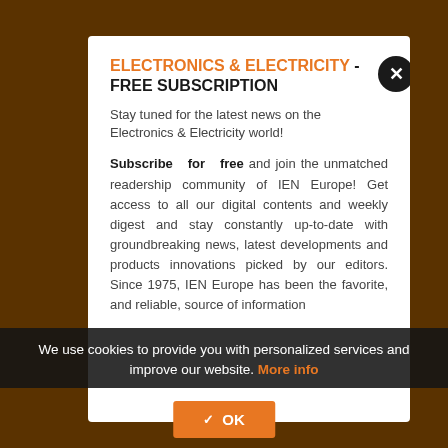ELECTRONICS & ELECTRICITY - FREE SUBSCRIPTION
Stay tuned for the latest news on the Electronics & Electricity world!
Subscribe for free and join the unmatched readership community of IEN Europe! Get access to all our digital contents and weekly digest and stay constantly up-to-date with groundbreaking news, latest developments and products innovations picked by our editors. Since 1975, IEN Europe has been the favorite, and reliable, source of information...
We use cookies to provide you with personalized services and improve our website. More info
✔ OK